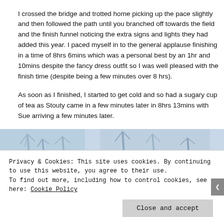I crossed the bridge and trotted home picking up the pace slightly and then followed the path until you branched off towards the field and the finish funnel noticing the extra signs and lights they had added this year. I paced myself in to the general applause finishing in a time of 8hrs 6mins which was a personal best by an 1hr and 10mins despite the fancy dress outfit so I was well pleased with the finish time (despite being a few minutes over 8 hrs).
As soon as I finished, I started to get cold and so had a sugary cup of tea as Stouty came in a few minutes later in 8hrs 13mins with Sue arriving a few minutes later.
[Figure (photo): Partially visible outdoor winter photo showing bare tree branches against a light blue/white sky, partially obscured by cookie consent banner overlay]
Privacy & Cookies: This site uses cookies. By continuing to use this website, you agree to their use.
To find out more, including how to control cookies, see here: Cookie Policy
Close and accept